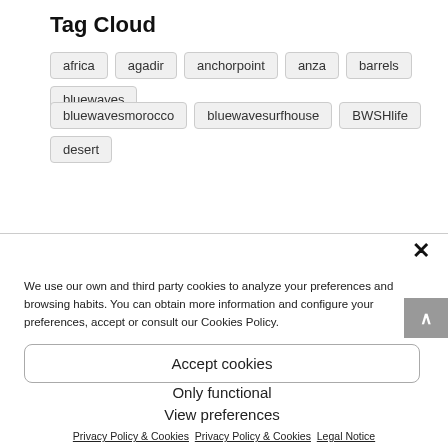Tag Cloud
africa
agadir
anchorpoint
anza
barrels
bluewaves
bluewavesmorocco
bluewavesurfhouse
BWSHlife
desert
We use our own and third party cookies to analyze your preferences and browsing habits. You can obtain more information and configure your preferences, accept or consult our Cookies Policy.
Accept cookies
Only functional
View preferences
Privacy Policy & Cookies   Privacy Policy & Cookies   Legal Notice